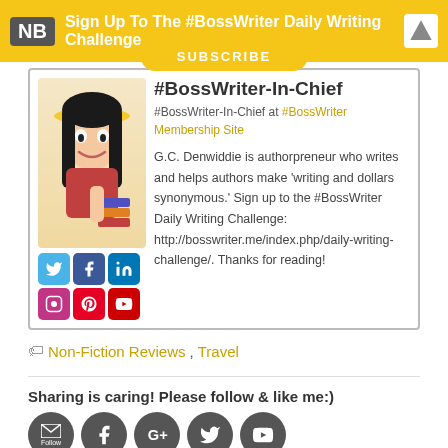NB Sign Up To The #BossWriter Daily Writing Challenge
SUBSCRIBE
#BossWriter-In-Chief
#BossWriter-In-Chief at #BossWriter Membership Site
G.C. Denwiddie is authorpreneur who writes and helps authors make 'writing and dollars synonymous.' Sign up to the #BossWriter Daily Writing Challenge: http://bosswriter.me/index.php/daily-writing-challenge/. Thanks for reading!
Non-Fiction Reviews, Travel
Sharing is caring! Please follow & like me:)
[Figure (illustration): Row of social media icon circles: email/Follow, Facebook, Google+, Twitter, YouTube]